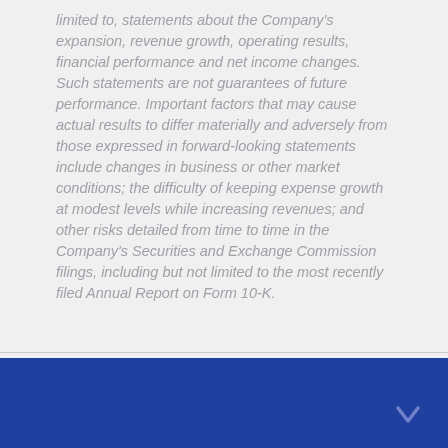limited to, statements about the Company's expansion, revenue growth, operating results, financial performance and net income changes. Such statements are not guarantees of future performance. Important factors that may cause actual results to differ materially and adversely from those expressed in forward-looking statements include changes in business or other market conditions; the difficulty of keeping expense growth at modest levels while increasing revenues; and other risks detailed from time to time in the Company's Securities and Exchange Commission filings, including but not limited to the most recently filed Annual Report on Form 10-K.